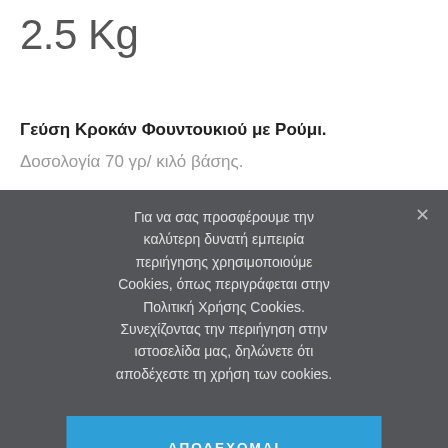2.5 Kg
Γεύση Κροκάν Φουντουκιού με Ρούμι.
Δοσολογία 70 γρ/ κιλό βάσης.
Για να σας προσφέρουμε την καλύτερη δυνατή εμπειρία περιήγησης χρησιμοποιούμε Cookies, όπως περιγράφεται στην Πολιτική Χρήσης Cookies. Συνεχίζοντας την περιήγηση στην ιστοσελίδα μας, δηλώνετε ότι αποδέχεστε τη χρήση των cookies.
ΑΠΟΔΕΧΟΜΑΙ
ΜΑΘΕ ΠΕΡΙΣΣΟΤΕΡΑ